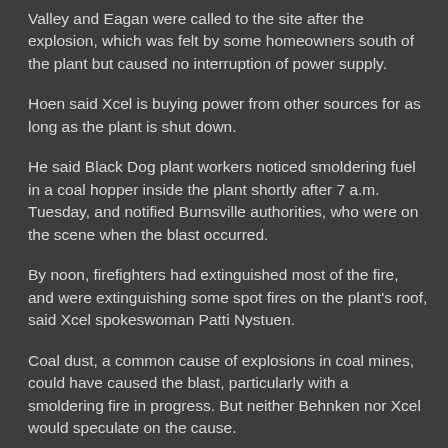Valley and Eagan were called to the site after the explosion, which was felt by some homeowners south of the plant but caused no interruption of power supply.
Hoen said Xcel is buying power from other sources for as long as the plant is shut down.
He said Black Dog plant workers noticed smoldering fuel in a coal hopper inside the plant shortly after 7 a.m. Tuesday, and notified Burnsville authorities, who were on the scene when the blast occurred.
By noon, firefighters had extinguished most of the fire, and were extinguishing some spot fires on the plant's roof, said Xcel spokeswoman Patti Nystuen.
Coal dust, a common cause of explosions in coal mines, could have caused the blast, particularly with a smoldering fire in progress. But neither Behnken nor Xcel would speculate on the cause.
At press time, Nystuen said that officials from